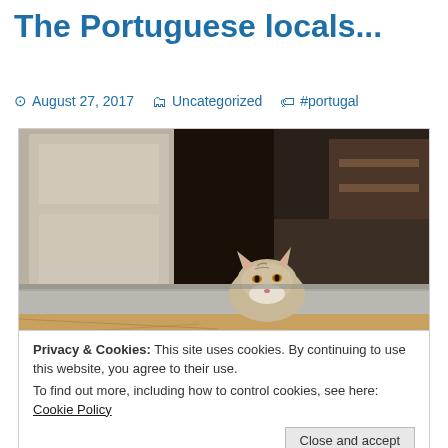The Portuguese locals...
August 27, 2017   Uncategorized   #portugal
[Figure (photo): A cat peeking its head over a stone doorstep threshold, with a wooden door open behind it showing a dark interior room.]
Privacy & Cookies: This site uses cookies. By continuing to use this website, you agree to their use.
To find out more, including how to control cookies, see here: Cookie Policy
Close and accept
[Figure (photo): Partial view of a second photo showing turquoise/teal colors at the bottom of the page.]